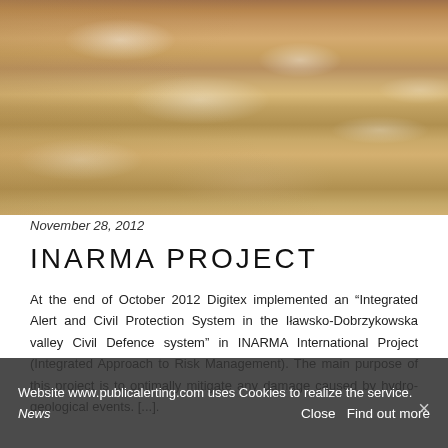[Figure (photo): Turbulent flooding river with brown churning water and white foam/waves, photographed from above. The water fills the entire frame showing a powerful flood event.]
November 28, 2012
INARMA PROJECT
At the end of October 2012 Digitex implemented an “Integrated Alert and Civil Protection System in the Iławsko-Dobrzykowska valley Civil Defence system” in INARMA International Project (Integrated Approach to Risk Management). The main purpose of this project is to optimally mitigate any damage caused by hydro-geological events. [...].
Website www.publicalerting.com uses Cookies to realize the service.
News
Close   Find out more